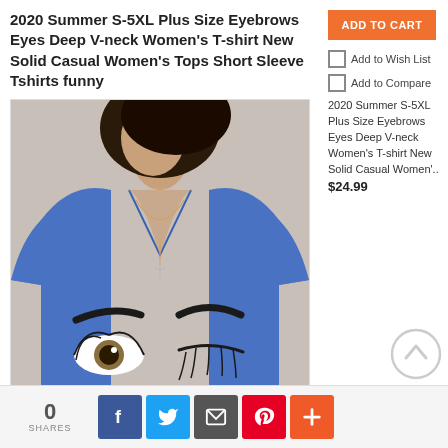2020 Summer S-5XL Plus Size Eyebrows Eyes Deep V-neck Women's T-shirt New Solid Casual Women's Tops Short Sleeve Tshirts funny
[Figure (photo): Woman wearing a blue short-sleeve V-neck t-shirt with eyebrows and eyes printed on it, wearing a cross necklace, paired with jeans.]
ADD TO CART
Add to Wish List
Add to Compare
2020 Summer S-5XL Plus Size Eyebrows Eyes Deep V-neck Women's T-shirt New Solid Casual Women'..  $24.99
0 SHARES
f (Facebook share button)
Twitter share button
Email share button
Pinterest share button
+ share button